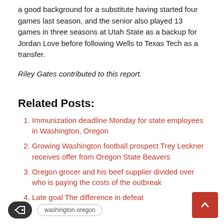a good background for a substitute having started four games last season, and the senior also played 13 games in three seasons at Utah State as a backup for Jordan Love before following Wells to Texas Tech as a transfer.
Riley Gates contributed to this report.
Related Posts:
Immunization deadline Monday for state employees in Washington, Oregon
Growing Washington football prospect Trey Leckner receives offer from Oregon State Beavers
Oregon grocer and his beef supplier divided over who is paying the costs of the outbreak
Late goal The difference in defeat
washington oregon